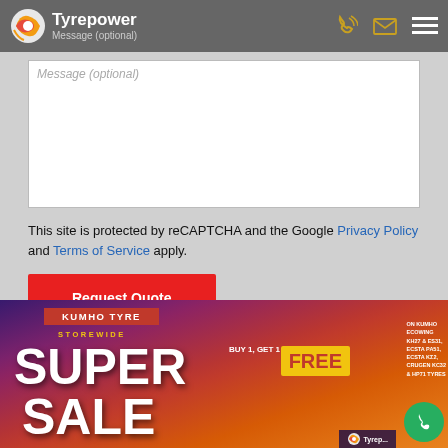Tyrepower — Message (optional)
Message (optional)
This site is protected by reCAPTCHA and the Google Privacy Policy and Terms of Service apply.
Request Quote
[Figure (photo): Kumho Tyre Storewide Super Sale advertisement banner with buy 1 get 1 free promotion, featuring bold red and white text on a sunset sky background, with Tyrepower logo in bottom right corner.]